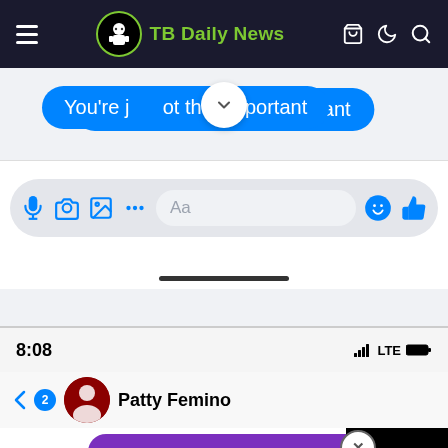TB Daily News
[Figure (screenshot): Facebook Messenger chat screenshot showing blue message bubble 'You're just not that important', messenger input bar with icons (microphone, camera, image, sticker, text field 'Aa', emoji, thumbs up), and a purple message bubble from Patty Femino saying 'Patty there comments there. You You're just']
8:08
LTE
Patty Femino
Patty there comments there. You You're just